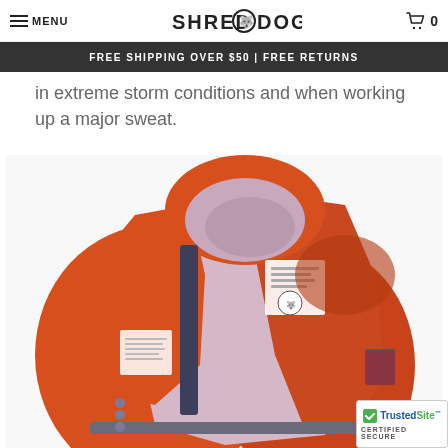MENU | SHRED DOG | 0
FREE SHIPPING OVER $50 | FREE RETURNS
waterproof breathable and stylish. The Elevated Merino balaclava will in extreme storm conditions and when working up a major sweat.
[Figure (photo): Orange Shred Dog ski jacket shown open to reveal lavender interior lining and Shred Dog branded label, with hood and zip details visible.]